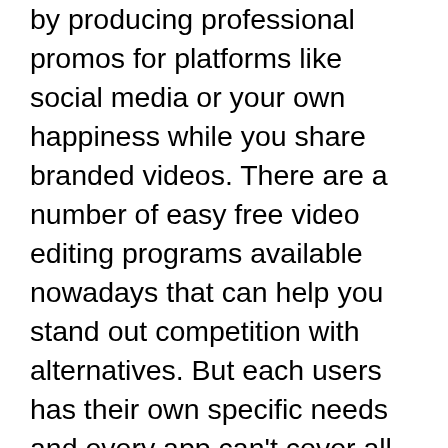by producing professional promos for platforms like social media or your own happiness while you share branded videos. There are a number of easy free video editing programs available nowadays that can help you stand out competition with alternatives. But each users has their own specific needs and every app can't cover all those things. So, that's why Videoshop 3uTools introduce for you.
It has many tools with most useful features of each tools. With the “Trim” option, you can cut out any unwanted moments and split videos into multiple clips. Select sounds you want to add from “Music” option. Sound effects can be managed according to users interest. Slow-motion and fast-motion